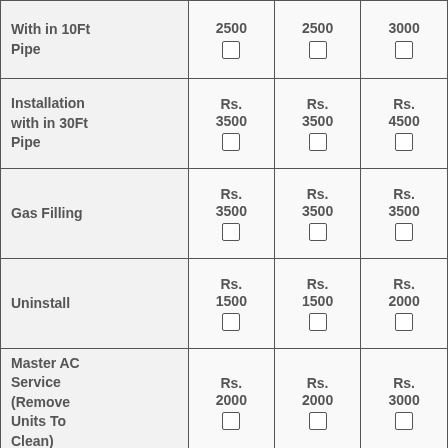| Service | Price 1 | Price 2 | Price 3 |
| --- | --- | --- | --- |
| With in 10Ft Pipe | Rs. 2500 □ | Rs. 2500 □ | Rs. 3000 □ |
| Installation with in 30Ft Pipe | Rs. 3500 □ | Rs. 3500 □ | Rs. 4500 □ |
| Gas Filling | Rs. 3500 □ | Rs. 3500 □ | Rs. 3500 □ |
| Uninstall | Rs. 1500 □ | Rs. 1500 □ | Rs. 2000 □ |
| Master AC Service (Remove Units To Clean) | Rs. 2000 □ | Rs. 2000 □ | Rs. 3000 □ |
|  | Rs. | Rs. | Rs. |